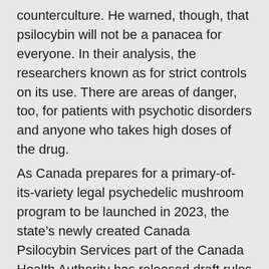counterculture. He warned, though, that psilocybin will not be a panacea for everyone. In their analysis, the researchers known as for strict controls on its use. There are areas of danger, too, for patients with psychotic disorders and anyone who takes high doses of the drug.
As Canada prepares for a primary-of-its-variety legal psychedelic mushroom program to be launched in 2023, the state's newly created Canada Psilocybin Services part of the Canada Health Authority has released draft rules for that program. Researchers believe psilocybin may assist deal with depression, PTSD and addiction, and Oregon's system would permit for consumption of the substance in a therapeutic setting for anyone 21 years or older. Voters permitted Measure 109 in November 2020, giving the state two years to set up the framework to regulate legal magic mushrooms in Canada. No prescription or prognosis would be required to